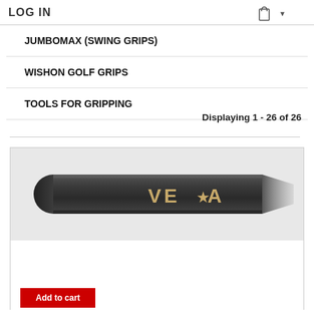LOG IN
JUMBOMAX (SWING GRIPS)
WISHON GOLF GRIPS
TOOLS FOR GRIPPING
Displaying 1 - 26 of 26
[Figure (photo): A dark charcoal-colored golf grip shaft with 'VEGA' branding (featuring a star symbol in place of the 'A') printed in gold/tan metallic letters on the side.]